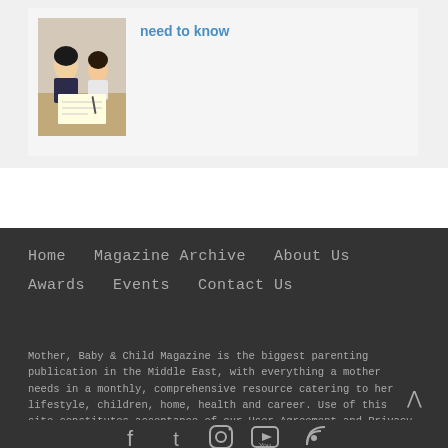[Figure (photo): Two people (appears to be a child and adult) studying or writing together, looking at paper on a table.]
need to know
Home   Magazine Archive   About Us   Awards   Events   Contact Us
Mother, Baby & Child Magazine is the biggest parenting publication in the Middle East, with everything a mother needs in a monthly, comprehensive resource catering to her lifestyle, children, home, health and career. Use of this site constitutes acceptance of our User Agreement and Privacy Policy.
[Figure (other): Social media icons: Facebook, Twitter, Instagram, YouTube, RSS feed]